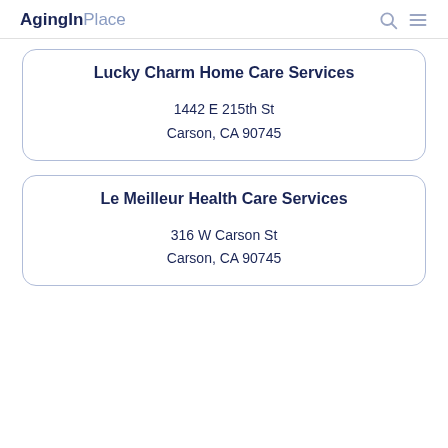AgingInPlace
Lucky Charm Home Care Services
1442 E 215th St
Carson, CA 90745
Le Meilleur Health Care Services
316 W Carson St
Carson, CA 90745